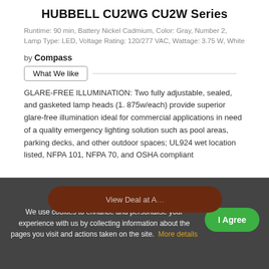HUBBELL CU2WG CU2W Series
Runtime: 90 min, Battery Nickel Cadmium, Color: Gray, Number 2, Lamp Type: LED, Voltage Rating: 120/277 VAC, Wattage: 3.75 W, White
by Compass
What We like
GLARE-FREE ILLUMINATION: Two fully adjustable, sealed, and gasketed lamp heads (1. 875w/each) provide superior glare-free illumination ideal for commercial applications in need of a quality emergency lighting solution such as pool areas, parking decks, and other outdoor spaces; UL924 wet location listed, NFPA 101, NFPA 70, and OSHA compliant
We use cookies to enhance and personalise your experience with us by collecting information about the pages you visit and actions taken on the site. More details
View Deal at A...
I Agree